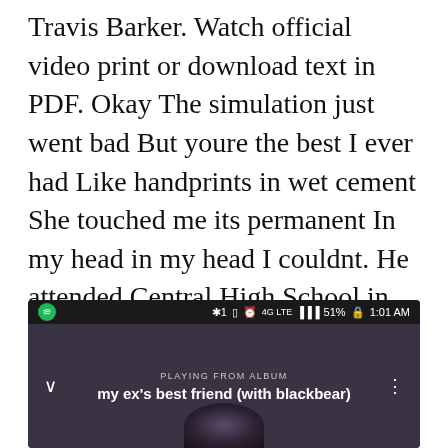Travis Barker. Watch official video print or download text in PDF. Okay The simulation just went bad But youre the best I ever had Like handprints in wet cement She touched me its permanent In my head in my head I couldnt. He attended Central High School in Memphis. In my head in my head Im callin you.
[Figure (screenshot): Spotify app screenshot showing status bar with Spotify icon, Bluetooth, battery 51%, time 1:01 AM, and player showing 'PLAYING FROM ALBUM' with song title 'my ex's best friend (with blackbear)']